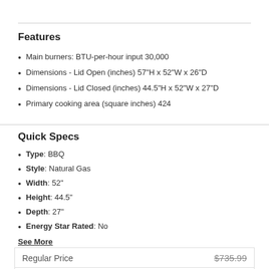Features
Main burners: BTU-per-hour input 30,000
Dimensions - Lid Open (inches) 57"H x 52"W x 26"D
Dimensions - Lid Closed (inches) 44.5"H x 52"W x 27"D
Primary cooking area (square inches) 424
Quick Specs
Type: BBQ
Style: Natural Gas
Width: 52"
Height: 44.5"
Depth: 27"
Energy Star Rated: No
See More
Regular Price  $735.99
Call for Our Best Price